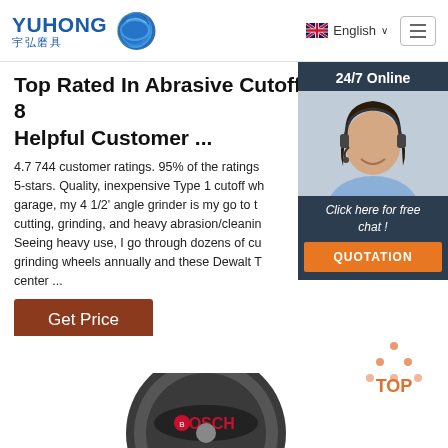[Figure (logo): YUHONG 宇弘磨具 logo with blue wave globe icon]
English ∨  ≡
Top Rated In Abrasive Cutoff Whe... 8 Helpful Customer ...
4.7 744 customer ratings. 95% of the ratings 5-stars. Quality, inexpensive Type 1 cutoff wh garage, my 4 1/2' angle grinder is my go to t cutting, grinding, and heavy abrasion/cleanin Seeing heavy use, I go through dozens of cu grinding wheels annually and these Dewalt T center ...
[Figure (photo): 24/7 Online customer service representative with headset, smiling. Chat widget with 'Click here for free chat!' text and QUOTATION orange button.]
Get Price
[Figure (logo): TOP button with orange dots forming triangle above text]
[Figure (photo): Bosch abrasive cutoff wheel product image (partial view)]